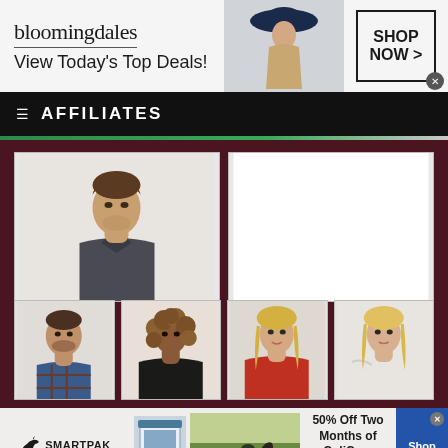[Figure (screenshot): Bloomingdales top ad banner: logo, 'View Today's Top Deals!' text, model in blue hat, 'SHOP NOW >' button]
≡ AFFILIATES
[Figure (photo): Grid of celebrity affiliate photos: large photo of male celebrity (dark polo shirt), blank white placeholder, and bottom row of four smaller photos: male, curly-haired female, blonde female, blonde female]
[Figure (screenshot): SmartPak bottom ad: logo, supplement product image, horse/rider image, '50% Off Two Months of ColiCare, ColiCare Eligible Supplements, CODE: COLICARE10', Shop Now button]